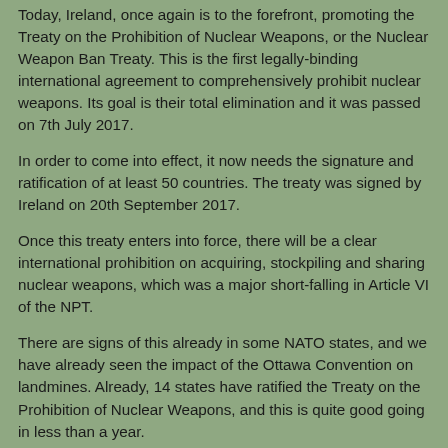Today, Ireland, once again is to the forefront, promoting the Treaty on the Prohibition of Nuclear Weapons, or the Nuclear Weapon Ban Treaty. This is the first legally-binding international agreement to comprehensively prohibit nuclear weapons. Its goal is their total elimination and it was passed on 7th July 2017.
In order to come into effect, it now needs the signature and ratification of at least 50 countries. The treaty was signed by Ireland on 20th September 2017.
Once this treaty enters into force, there will be a clear international prohibition on acquiring, stockpiling and sharing nuclear weapons, which was a major short-falling in Article VI of the NPT.
There are signs of this already in some NATO states, and we have already seen the impact of the Ottawa Convention on landmines. Already, 14 states have ratified the Treaty on the Prohibition of Nuclear Weapons, and this is quite good going in less than a year.
We are looking to encourage countries to ratify the...